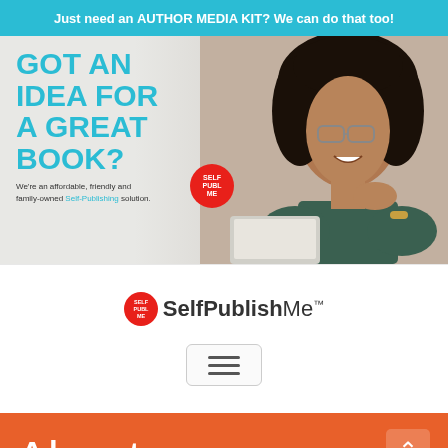Just need an AUTHOR MEDIA KIT? We can do that too!
[Figure (photo): Hero banner with a smiling woman with curly hair and glasses leaning on her hand, with large teal text 'GOT AN IDEA FOR A GREAT BOOK?' on the left, and tagline 'We're an affordable, friendly and family-owned Self-Publishing solution.' with a SelfPublishMe logo badge.]
[Figure (logo): SelfPublishMe logo with red circle icon and text 'SelfPublishMe™']
[Figure (other): Hamburger menu button (three horizontal lines inside a rounded rectangle button)]
About